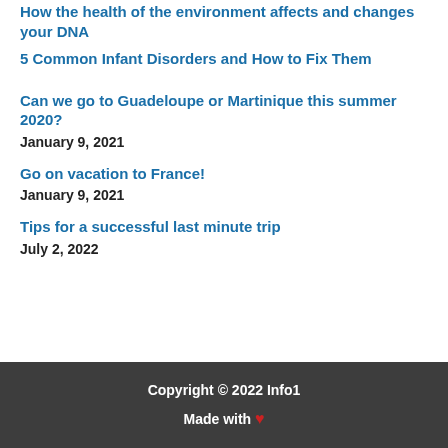How the health of the environment affects and changes your DNA
5 Common Infant Disorders and How to Fix Them
Can we go to Guadeloupe or Martinique this summer 2020?
January 9, 2021
Go on vacation to France!
January 9, 2021
Tips for a successful last minute trip
July 2, 2022
Copyright © 2022 Info1
Made with ❤